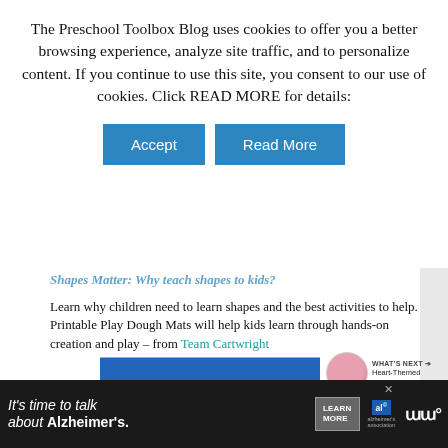The Preschool Toolbox Blog uses cookies to offer you a better browsing experience, analyze site traffic, and to personalize content. If you continue to use this site, you consent to our use of cookies. Click READ MORE for details:
[Figure (screenshot): Two buttons: Accept (blue) and Read More (blue)]
Shapes Matter: Why teach shapes to kids?
Learn why children need to learn shapes and the best activities to help. Printable Play Dough Mats will help kids learn through hands-on creation and play – from Team Cartwright
[Figure (screenshot): What's Next widget with heart-themed preschool thumbnail and text 'WHAT'S NEXT → Heart-Themed Preschool...']
[Figure (screenshot): Bottom advertisement bar: It's time to talk about Alzheimer's. Learn More button. Alzheimer's association logo.]